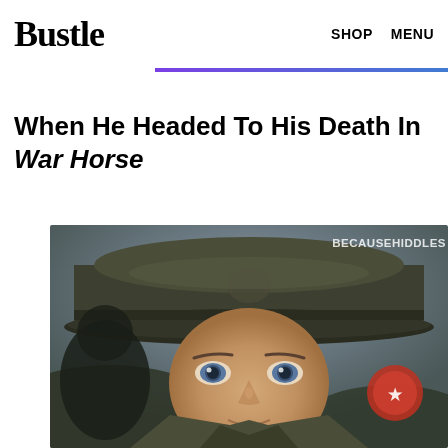Bustle  SHOP  MENU
When He Headed To His Death In War Horse
[Figure (photo): Close-up photo of an actor in a military uniform and cap, looking upward with intense eyes. Watermark reads BECAUSEHIDDLES in the top right corner. Still from the film War Horse.]